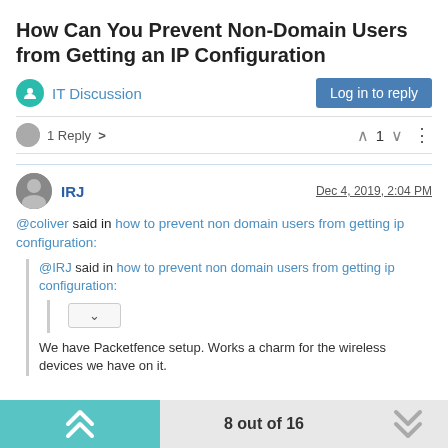How Can You Prevent Non-Domain Users from Getting an IP Configuration
IT Discussion
Log in to reply
1 Reply > ^ 1 v
IRJ  Dec 4, 2019, 2:04 PM
@coliver said in how to prevent non domain users from getting ip configuration:
@IRJ said in how to prevent non domain users from getting ip configuration:
We have Packetfence setup. Works a charm for the wireless devices we have on it.
8 out of 16